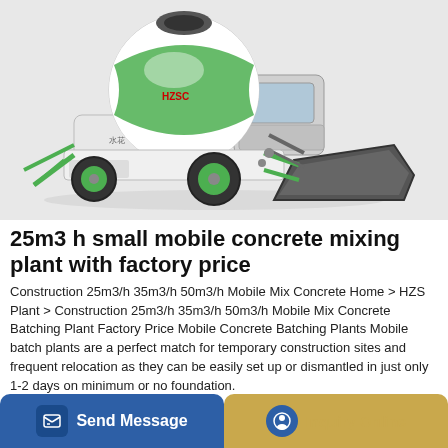[Figure (photo): A green and white self-loading mobile concrete mixer truck with a front-loading bucket/shovel attachment and rotating mixing drum on top, shown on a light grey background.]
25m3 h small mobile concrete mixing plant with factory price
Construction 25m3/h 35m3/h 50m3/h Mobile Mix Concrete Home > HZS Plant > Construction 25m3/h 35m3/h 50m3/h Mobile Mix Concrete Batching Plant Factory Price Mobile Concrete Batching Plants Mobile batch plants are a perfect match for temporary construction sites and frequent relocation as they can be easily set up or dismantled in just only 1-2 days on minimum or no foundation.